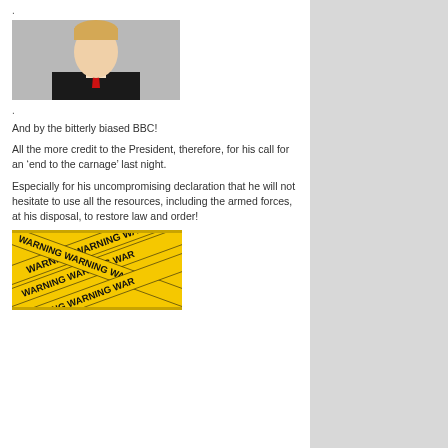.
[Figure (photo): Photo of a man in a dark suit with red tie against a grey background]
.
And by the bitterly biased BBC!
All the more credit to the President, therefore, for his call for an ‘end to the carnage’ last night.
Especially for his uncompromising declaration that he will not hesitate to use all the resources, including the armed forces, at his disposal, to restore law and order!
[Figure (photo): Yellow warning tape crossed in multiple directions with the word WARNING repeated]